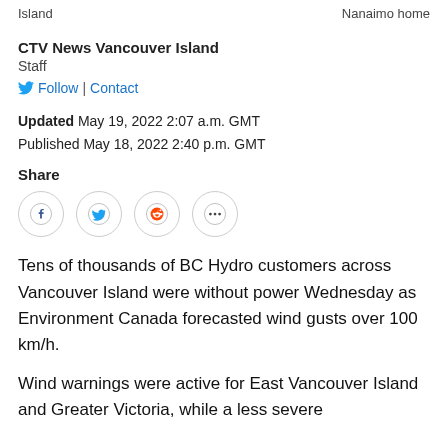Island | Nanaimo home
CTV News Vancouver Island
Staff
Follow | Contact
Updated May 19, 2022 2:07 a.m. GMT
Published May 18, 2022 2:40 p.m. GMT
Share
[Figure (infographic): Row of four circular social share buttons: Facebook (f), Twitter (bird), Reddit (alien), More (...)]
Tens of thousands of BC Hydro customers across Vancouver Island were without power Wednesday as Environment Canada forecasted wind gusts over 100 km/h.
Wind warnings were active for East Vancouver Island and Greater Victoria, while a less severe